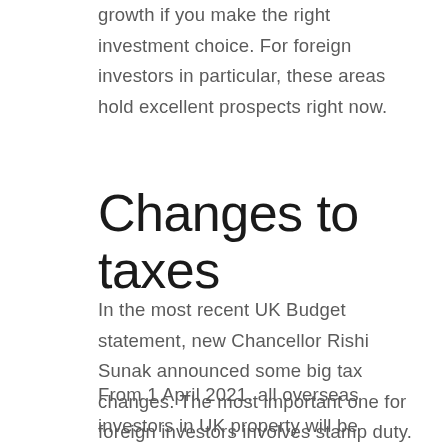growth if you make the right investment choice. For foreign investors in particular, these areas hold excellent prospects right now.
Changes to taxes
In the most recent UK Budget statement, new Chancellor Rishi Sunak announced some big tax changes. The most important one for foreign investors involves stamp duty.
From 1 April 2021, all overseas investors in UK property will be eligible to pay a 2% stamp duty surcharge on residential property investments. That's assuming we don't see any